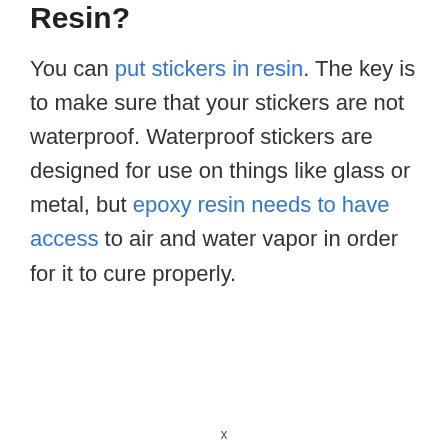Resin?
You can put stickers in resin. The key is to make sure that your stickers are not waterproof. Waterproof stickers are designed for use on things like glass or metal, but epoxy resin needs to have access to air and water vapor in order for it to cure properly.
x